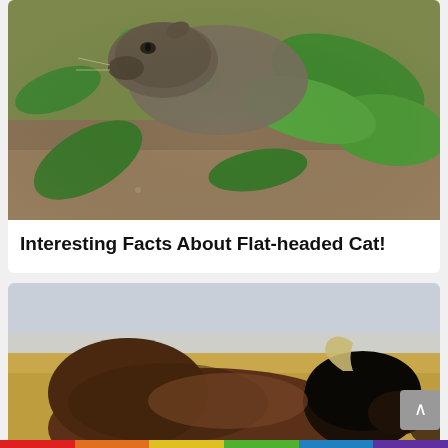[Figure (photo): Close-up photo of a flat-headed cat among green leaves and soil]
Interesting Facts About Flat-headed Cat!
[Figure (photo): Photo of a bison standing in a field with a pale sky background]